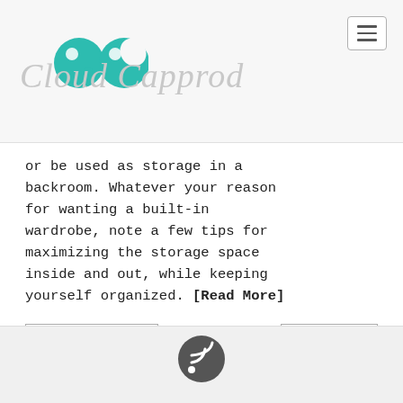[Figure (logo): Cloud Capprod logo with two teal circular icons and stylized italic gray text]
or be used as storage in a backroom. Whatever your reason for wanting a built-in wardrobe, note a few tips for maximizing the storage space inside and out, while keeping yourself organized. [Read More]
← PREVIOUS
NEXT →
[Figure (logo): Small circular RSS/signal icon in footer area]